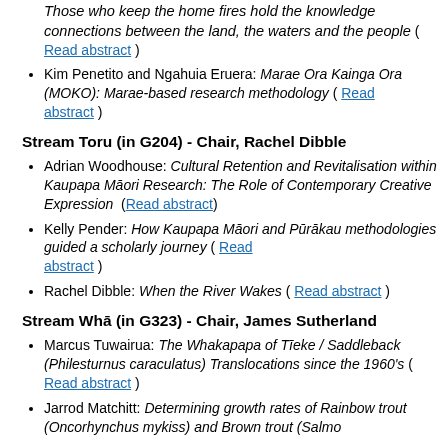Those who keep the home fires hold the knowledge connections between the land, the waters and the people ( Read abstract )
Kim Penetito and Ngahuia Eruera: Marae Ora Kainga Ora (MOKO): Marae-based research methodology ( Read abstract )
Stream Toru (in G204) - Chair, Rachel Dibble
Adrian Woodhouse: Cultural Retention and Revitalisation within Kaupapa Māori Research: The Role of Contemporary Creative Expression ( Read abstract )
Kelly Pender: How Kaupapa Māori and Pūrākau methodologies guided a scholarly journey ( Read abstract )
Rachel Dibble: When the River Wakes ( Read abstract )
Stream Whā (in G323) - Chair, James Sutherland
Marcus Tuwairua: The Whakapapa of Tīeke / Saddleback (Philesturnus caraculatus) Translocations since the 1960's ( Read abstract )
Jarrod Matchitt: Determining growth rates of Rainbow trout (Oncorhynchus mykiss) and Brown trout (Salmo